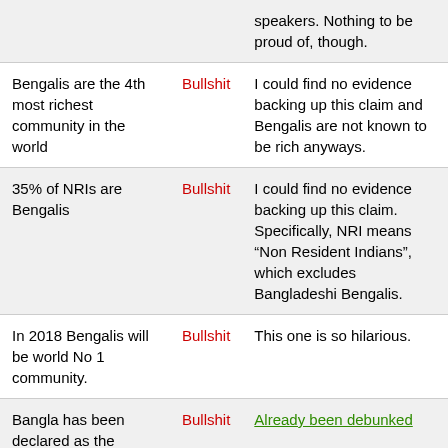| Claim | Verdict | Explanation |
| --- | --- | --- |
| [partial top row] | Bullshit | speakers. Nothing to be proud of, though. |
| Bengalis are the 4th most richest community in the world | Bullshit | I could find no evidence backing up this claim and Bengalis are not known to be rich anyways. |
| 35% of NRIs are Bengalis | Bullshit | I could find no evidence backing up this claim. Specifically, NRI means “Non Resident Indians”, which excludes Bangladeshi Bengalis. |
| In 2018 Bengalis will be world No 1 community. | Bullshit | This one is so hilarious. |
| Bangla has been declared as the second language of London | Bullshit | Already been debunked |
| UNESCO has declared Bengali as the sweetest | Bullshit | Already been debunked |